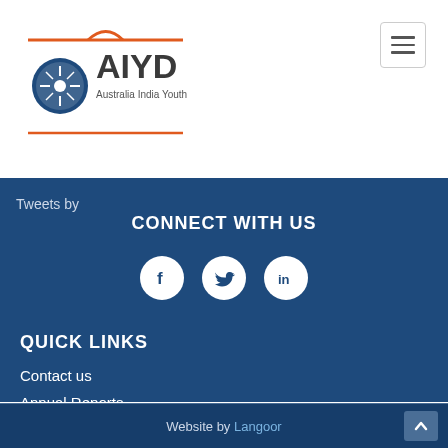[Figure (logo): AIYD Australia India Youth Dialogue logo with circular emblem and orange/blue branding lines]
Tweets by
CONNECT WITH US
[Figure (infographic): Three social media icons: Facebook, Twitter, LinkedIn as white circles on dark blue background]
QUICK LINKS
Contact us
Annual Reports
Website by Langoor